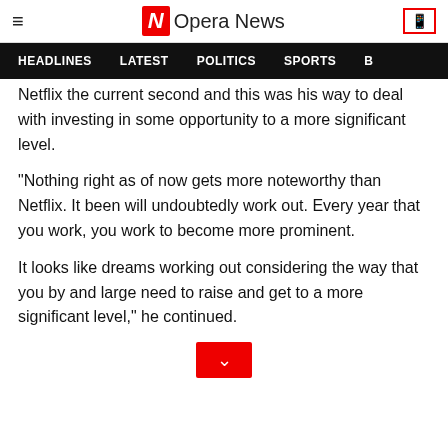Opera News
HEADLINES   LATEST   POLITICS   SPORTS
Netflix the current second and this was his way to deal with investing in some opportunity to a more significant level.
"Nothing right as of now gets more noteworthy than Netflix. It been will undoubtedly work out. Every year that you work, you work to become more prominent.
It looks like dreams working out considering the way that you by and large need to raise and get to a more significant level," he continued.